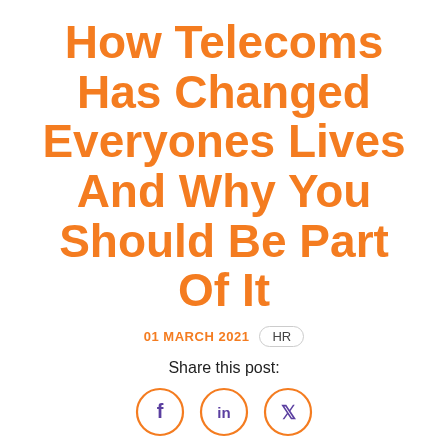How Telecoms Has Changed Everyones Lives And Why You Should Be Part Of It
01 MARCH 2021   HR
Share this post:
[Figure (illustration): Three social media share icons: Facebook (f), LinkedIn (in), and Twitter (bird) in orange circle outlines]
To begin with, let's explain what telecoms is all about. The word telecommunications literally means "the sharing of